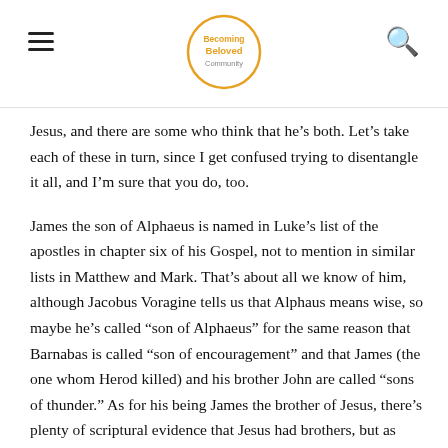Becoming Beloved Community
Jesus, and there are some who think that he’s both. Let’s take each of these in turn, since I get confused trying to disentangle it all, and I’m sure that you do, too.
James the son of Alphaeus is named in Luke’s list of the apostles in chapter six of his Gospel, not to mention in similar lists in Matthew and Mark. That’s about all we know of him, although Jacobus Voragine tells us that Alphaus means wise, so maybe he’s called “son of Alphaeus” for the same reason that Barnabas is called “son of encouragement” and that James (the one whom Herod killed) and his brother John are called “sons of thunder.” As for his being James the brother of Jesus, there’s plenty of scriptural evidence that Jesus had brothers, but as early as the fourth century there were Christians who claimed that these brothers were really